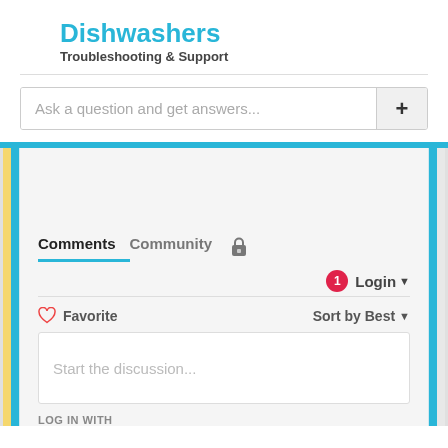Dishwashers
Troubleshooting & Support
[Figure (screenshot): Search bar with placeholder text 'Ask a question and get answers...' and a plus button]
Comments   Community  🔒
1  Login ▼
♡ Favorite         Sort by Best ▼
Start the discussion...
LOG IN WITH